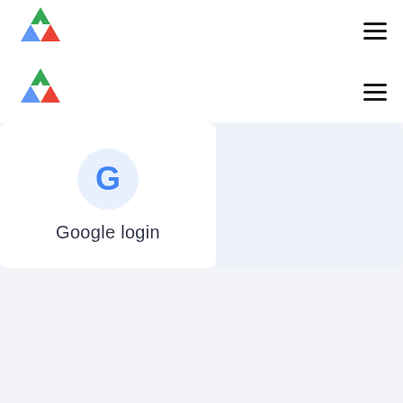[Figure (logo): Colorful triangle/arrow logo (green, blue, red segments) - first navbar]
[Figure (other): Hamburger menu icon (three horizontal lines) - first navbar]
[Figure (logo): Colorful triangle/arrow logo (green, blue, red segments) - second navbar]
[Figure (other): Hamburger menu icon (three horizontal lines) - second navbar]
[Figure (logo): Google G logo in a light blue circle]
Google login